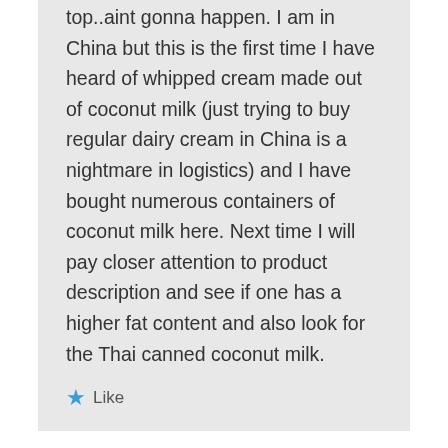top..aint gonna happen. I am in China but this is the first time I have heard of whipped cream made out of coconut milk (just trying to buy regular dairy cream in China is a nightmare in logistics) and I have bought numerous containers of coconut milk here. Next time I will pay closer attention to product description and see if one has a higher fat content and also look for the Thai canned coconut milk.
Like
Helen on 05/21/2015 at 21:28